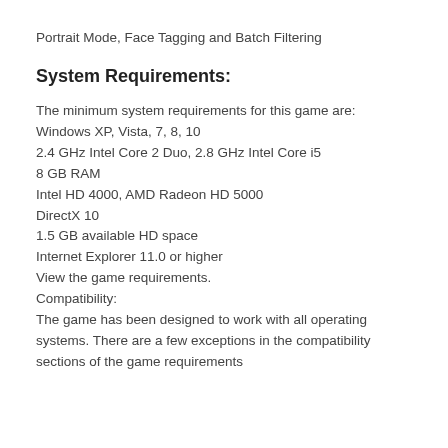Portrait Mode, Face Tagging and Batch Filtering
System Requirements:
The minimum system requirements for this game are:
Windows XP, Vista, 7, 8, 10
2.4 GHz Intel Core 2 Duo, 2.8 GHz Intel Core i5
8 GB RAM
Intel HD 4000, AMD Radeon HD 5000
DirectX 10
1.5 GB available HD space
Internet Explorer 11.0 or higher
View the game requirements.
Compatibility:
The game has been designed to work with all operating systems. There are a few exceptions in the compatibility sections of the game requirements